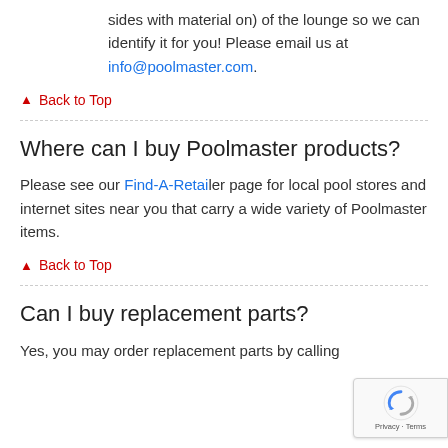sides with material on) of the lounge so we can identify it for you! Please email us at info@poolmaster.com.
▲ Back to Top
Where can I buy Poolmaster products?
Please see our Find-A-Retailer page for local pool stores and internet sites near you that carry a wide variety of Poolmaster items.
▲ Back to Top
Can I buy replacement parts?
Yes, you may order replacement parts by calling